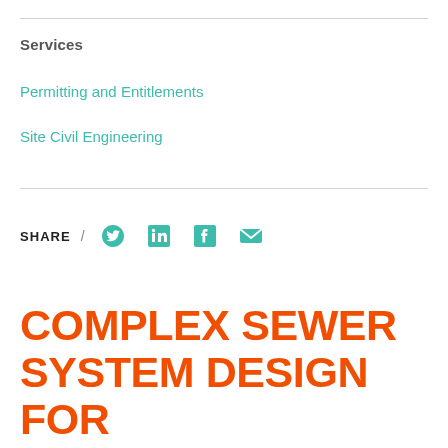Services
Permitting and Entitlements
Site Civil Engineering
SHARE / [Twitter] [LinkedIn] [Facebook] [Email]
COMPLEX SEWER SYSTEM DESIGN FOR SENIOR LIVING FACILITY